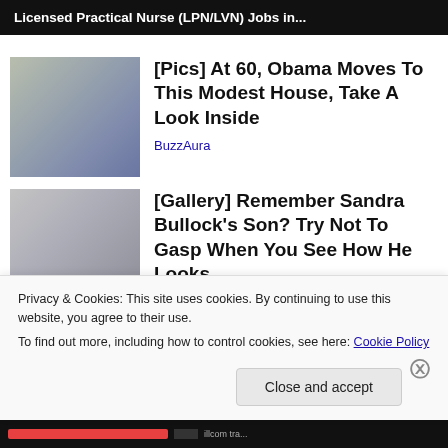[Figure (screenshot): Ad banner: Licensed Practical Nurse (LPN/LVN) Jobs in...]
[Figure (photo): Thumbnail image of two people outdoors]
[Pics] At 60, Obama Moves To This Modest House, Take A Look Inside
BuzzAura
[Figure (photo): Thumbnail image of a person with sunglasses]
[Gallery] Remember Sandra Bullock's Son? Try Not To Gasp When You See How He Looks...
Privacy & Cookies: This site uses cookies. By continuing to use this website, you agree to their use.
To find out more, including how to control cookies, see here: Cookie Policy
Close and accept